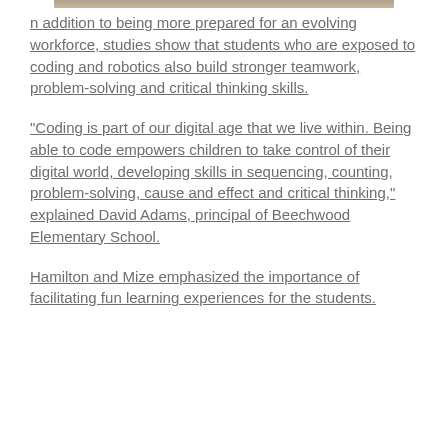[Figure (photo): Partial image visible at top of page, cropped]
n addition to being more prepared for an evolving workforce, studies show that students who are exposed to coding and robotics also build stronger teamwork, problem-solving and critical thinking skills.
“Coding is part of our digital age that we live within. Being able to code empowers children to take control of their digital world, developing skills in sequencing, counting, problem-solving, cause and effect and critical thinking,” explained David Adams, principal of Beechwood Elementary School.
Hamilton and Mize emphasized the importance of facilitating fun learning experiences for the students.